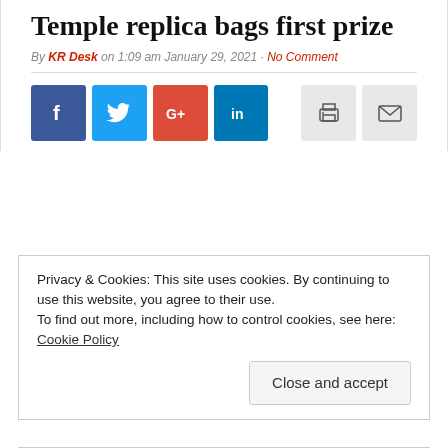Temple replica bags first prize
By KR Desk on 1:09 am January 29, 2021 · No Comment
[Figure (other): Social media share buttons: Facebook (blue), Twitter (light blue), Google+ (red), LinkedIn (blue), Print (grey), Email (grey)]
Privacy & Cookies: This site uses cookies. By continuing to use this website, you agree to their use.
To find out more, including how to control cookies, see here: Cookie Policy
Close and accept